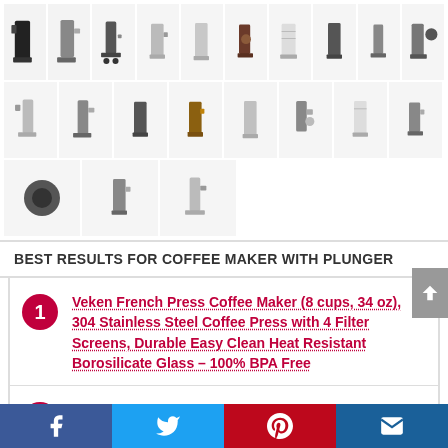[Figure (photo): Grid of product thumbnail images showing various French press coffee makers in three rows]
BEST RESULTS FOR COFFEE MAKER WITH PLUNGER
1. Veken French Press Coffee Maker (8 cups, 34 oz), 304 Stainless Steel Coffee Press with 4 Filter Screens, Durable Easy Clean Heat Resistant Borosilicate Glass – 100% BPA Free
2. Magicafé French Press Coffee Maker – Single Serve 1 Cup Small Stainless Steel Thermal